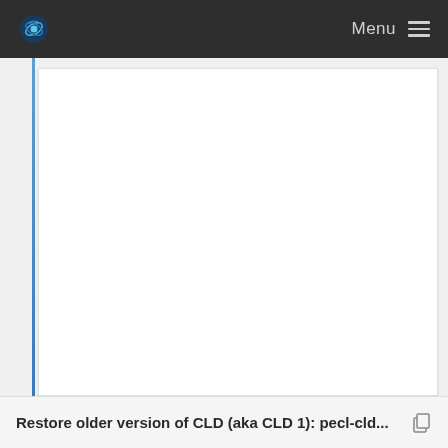Menu
[Figure (other): Large empty white content area of a web page, bordered on the left by a blue vertical line.]
Restore older version of CLD (aka CLD 1): pecl-cld...